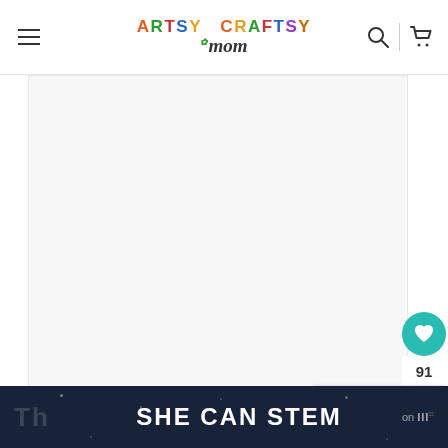Artsy Craftsy Mom — navigation header with hamburger menu, logo, search icon, and cart icon
[Figure (photo): Large white/light grey image area (content image for an Artsy Craftsy Mom article)]
[Figure (infographic): Side panel with teal heart button, count 91, and white share button]
[Figure (screenshot): What's Next panel showing thumbnail and text: 'Make a Custom Lift-...']
SHE CAN STEM — banner advertisement